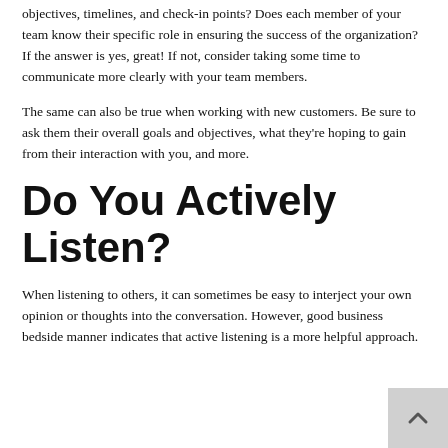objectives, timelines, and check-in points? Does each member of your team know their specific role in ensuring the success of the organization? If the answer is yes, great! If not, consider taking some time to communicate more clearly with your team members.
The same can also be true when working with new customers. Be sure to ask them their overall goals and objectives, what they're hoping to gain from their interaction with you, and more.
Do You Actively Listen?
When listening to others, it can sometimes be easy to interject your own opinion or thoughts into the conversation. However, good business bedside manner indicates that active listening is a more helpful approach.